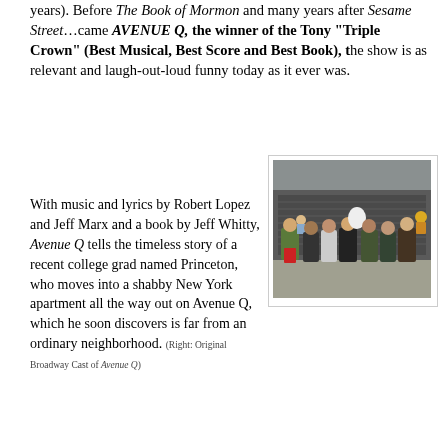years). Before The Book of Mormon and many years after Sesame Street…came AVENUE Q, the winner of the Tony "Triple Crown" (Best Musical, Best Score and Best Book), the show is as relevant and laugh-out-loud funny today as it ever was.
With music and lyrics by Robert Lopez and Jeff Marx and a book by Jeff Whitty, Avenue Q tells the timeless story of a recent college grad named Princeton, who moves into a shabby New York apartment all the way out on Avenue Q, which he soon discovers is far from an ordinary neighborhood. (Right: Original Broadway Cast of Avenue Q)
[Figure (photo): Group photo of the Original Broadway Cast of Avenue Q, performers with puppets standing in front of a building backdrop]